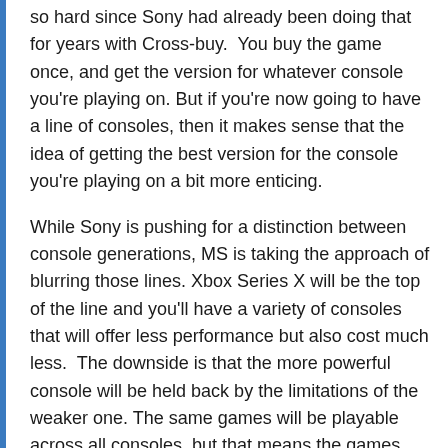so hard since Sony had already been doing that for years with Cross-buy.  You buy the game once, and get the version for whatever console you're playing on. But if you're now going to have a line of consoles, then it makes sense that the idea of getting the best version for the console you're playing on a bit more enticing.
While Sony is pushing for a distinction between console generations, MS is taking the approach of blurring those lines. Xbox Series X will be the top of the line and you'll have a variety of consoles that will offer less performance but also cost much less.  The downside is that the more powerful console will be held back by the limitations of the weaker one. The same games will be playable across all consoles, but that means the games can not take advantage of unique features of the faster one.  Sony did a great job with the new Ratchet and Clank game by showing something that can not be made for current consoles. Xbox isn't going to be able to have that. They're just going to have PC's with different settings for frame